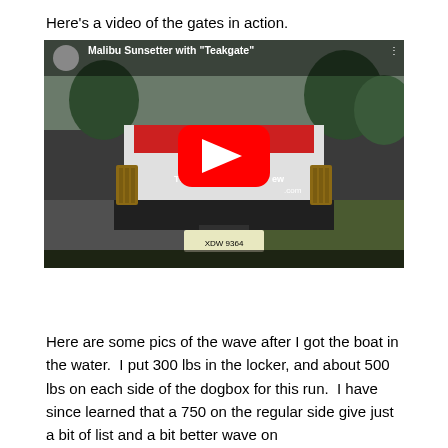Here's a video of the gates in action.
[Figure (screenshot): YouTube video thumbnail showing a Malibu Sunsetter boat with 'Teakgate' from the rear, on a trailer. The video title reads: Malibu Sunsetter with "Teakgate". A large red YouTube play button is centered over the image. The boat has wooden gate accessories visible on each side. License plate reads XDW 9364.]
Here are some pics of the wave after I got the boat in the water.  I put 300 lbs in the locker, and about 500 lbs on each side of the dogbox for this run.  I have since learned that a 750 on the regular side give just a bit of list and a bit better wave on